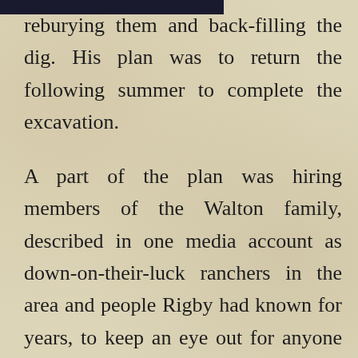reburying them and back-filling the dig. His plan was to return the following summer to complete the excavation.
A part of the plan was hiring members of the Walton family, described in one media account as down-on-their-luck ranchers in the area and people Rigby had known for years, to keep an eye out for anyone who might try to tamper with the site. Rigby, in fact, had received permission to dig on the site from the Waltons, who told him they